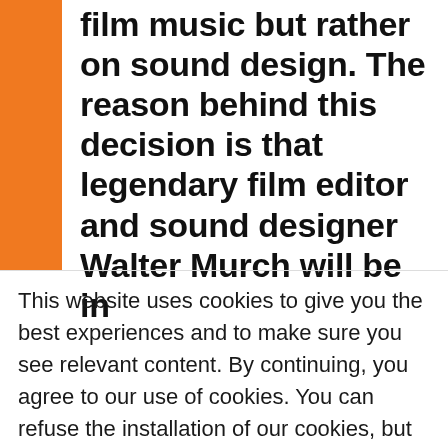film music but rather on sound design. The reason behind this decision is that legendary film editor and sound designer Walter Murch will be in
This website uses cookies to give you the best experiences and to make sure you see relevant content. By continuing, you agree to our use of cookies. You can refuse the installation of our cookies, but this might result in a less optimal experience. Read more.
I AGREE